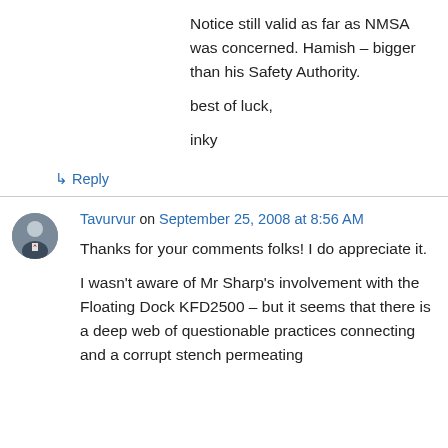Notice still valid as far as NMSA was concerned. Hamish – bigger than his Safety Authority.

best of luck,

inky
↳ Reply
Tavurvur on September 25, 2008 at 8:56 AM
Thanks for your comments folks! I do appreciate it.

I wasn't aware of Mr Sharp's involvement with the Floating Dock KFD2500 – but it seems that there is a deep web of questionable practices connecting and a corrupt stench permeating